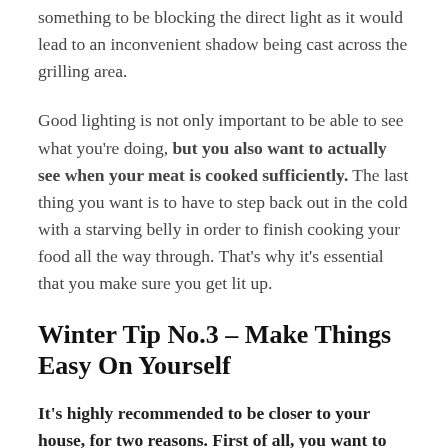something to be blocking the direct light as it would lead to an inconvenient shadow being cast across the grilling area.
Good lighting is not only important to be able to see what you're doing, but you also want to actually see when your meat is cooked sufficiently. The last thing you want is to have to step back out in the cold with a starving belly in order to finish cooking your food all the way through. That's why it's essential that you make sure you get lit up.
Winter Tip No.3 – Make Things Easy On Yourself
It's highly recommended to be closer to your house, for two reasons. First of all, you want to